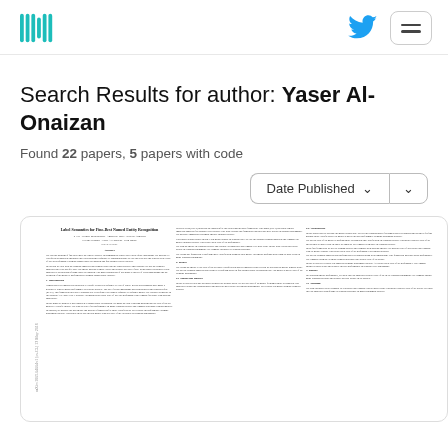Hugging Face | Twitter | Menu
Search Results for author: Yaser Al-Onaizan
Found 22 papers, 5 papers with code
Date Published ∨ ∨
[Figure (screenshot): Thumbnail preview of a research paper titled about Named Entity Recognition with multiple columns of dense text]